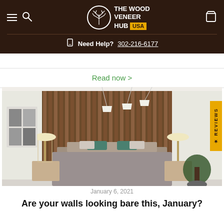[Figure (logo): The Wood Veneer Hub USA logo with tree icon in circle, white text on brown background]
Need Help? 302-216-6177
Read now >
[Figure (photo): Modern bedroom interior with vertical wood slat wall panel behind bed, two bedside lamps, teal accent pillows, pendant lights, and decorative plant]
January 6, 2021
Are your walls looking bare this, January?